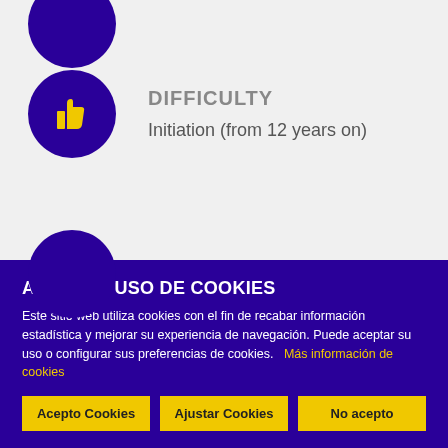[Figure (illustration): Partial dark blue circle cut off at top of page]
DIFFICULTY
Initiation (from 12 years on)
[Figure (illustration): Partial dark blue circle visible at boundary of gray and cookie banner sections]
AVISO DE USO DE COOKIES
Este sitio web utiliza cookies con el fin de recabar información estadística y mejorar su experiencia de navegación. Puede aceptar su uso o configurar sus preferencias de cookies.
Más información de cookies
Acepto Cookies
Ajustar Cookies
No acepto